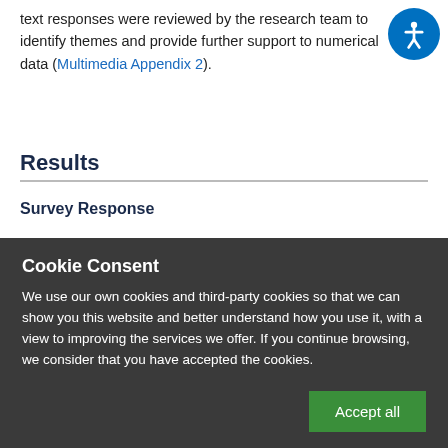text responses were reviewed by the research team to identify themes and provide further support to numerical data (Multimedia Appendix 2).
Results
Survey Response
Cookie Consent
We use our own cookies and third-party cookies so that we can show you this website and better understand how you use it, with a view to improving the services we offer. If you continue browsing, we consider that you have accepted the cookies.